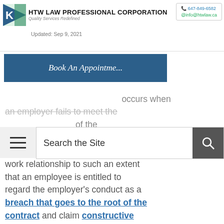HTW LAW PROFESSIONAL CORPORATION | Quality Services Redefined | 647-849-6582 | info@htwlaw.ca | Updated: Sep 9, 2021
[Figure (screenshot): Book An Appointme... button overlay on page]
[Figure (screenshot): Search the Site search bar overlay with hamburger menu icon]
occurs when an employer fails to meet the fundamental terms of the work relationship to such an extent that an employee is entitled to regard the employer's conduct as a breach that goes to the root of the contract and claim constructive dismissal. We will look at some recent cases to get a sense of what the "winning formula" is.
Topics Will be Covered in This Post:
The Legal Test for Constructive